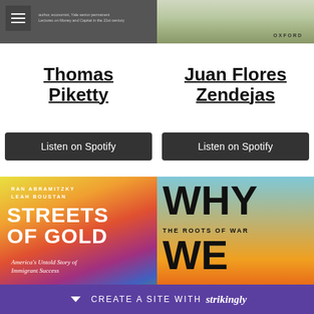[Figure (photo): Book cover for Thomas Piketty on the left (dark background with text overlay and hamburger menu icon), and Juan Flores Zendejas book cover on the right (Oxford University Press, floral image)]
Thomas Piketty
Juan Flores Zendejas
Listen on Spotify
Listen on Spotify
[Figure (photo): Book cover: Streets of Gold by Ran Abramitzky and Leah Boustan - America's Untold Story of Immigrant Success, colorful rainbow diagonal stripes background]
[Figure (photo): Book cover: Why We Fight - The Roots of War and the Paths to Peace, blue to red gradient background with large bold black WHY WE text]
CREATE A SITE WITH strikingly